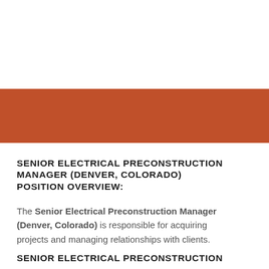[Figure (other): Orange/burnt-orange horizontal banner bar across the page]
SENIOR ELECTRICAL PRECONSTRUCTION MANAGER (DENVER, COLORADO) POSITION OVERVIEW:
The Senior Electrical Preconstruction Manager (Denver, Colorado) is responsible for acquiring projects and managing relationships with clients.
SENIOR ELECTRICAL PRECONSTRUCTION